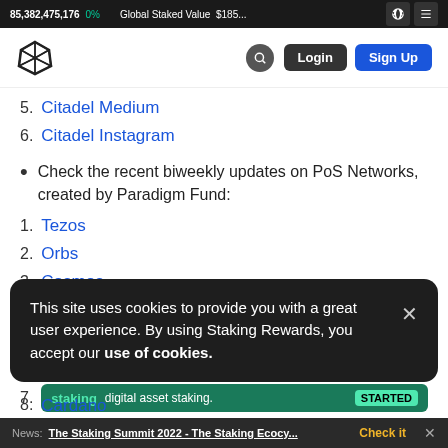85,382,475,176 0% Global Staked Value $185...
5. Citadel Medium
6. Citadel Instagram
Check the recent biweekly updates on PoS Networks, created by Paradigm Fund:
1. Tezos
2. Orbs
3. Cosmos
This site uses cookies to provide you with a great user experience. By using Staking Rewards, you accept our use of cookies.
7. staking digital asset staking. STARTED
8. Cardano
News: The Staking Summit 2022 - The Staking Ecocy... Check it